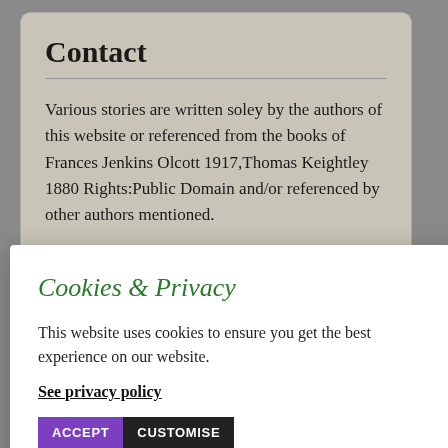Contact
Various stories are written soley by the authors of this website or referenced from the books of Frances Jenkins Olcott 1917,Thomas Keightley 1880 Rights:Public Domain and/or referenced by other authors mentioned.
Cookies & Privacy
This website uses cookies to ensure you get the best experience on our website.
See privacy policy
ACCEPT   CUSTOMISE
Privacy Policy